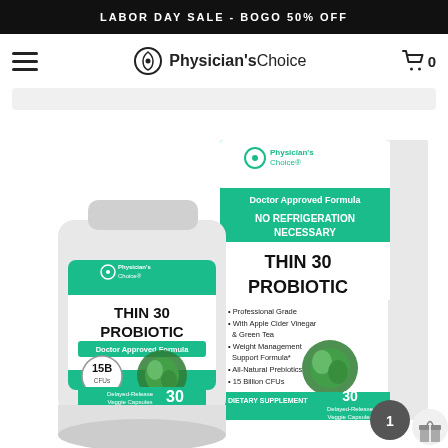LABOR DAY SALE - BOGO 50% OFF
[Figure (logo): Physician's Choice logo with hamburger menu and cart icon showing 0 items]
[Figure (photo): Physician's Choice Thin 30 Probiotic product - white bottle and green box. Bottle label shows: Physician's Choice, THIN 30 PROBIOTIC, Doctor Approved Formula, 15B CFUs, 30 Delayed-Release Veggie Capsules, DIETARY SUPPLEMENT. Box shows: PhysiciansChoice, Doctor Approved Formula, NO REFRIGERATION NECESSARY, THIN 30 PROBIOTIC, Professional Grade, With Apple Cider Vinegar & Green Tea, Weight Management Support Formula, All-Natural Prebiotics, 15 Billion CFUs, 30 Delayed-Release Veggie Capsules, DIETARY SUPPLEMENT. A gray circle badge with number 1 and a gift icon are overlaid in the bottom right.]